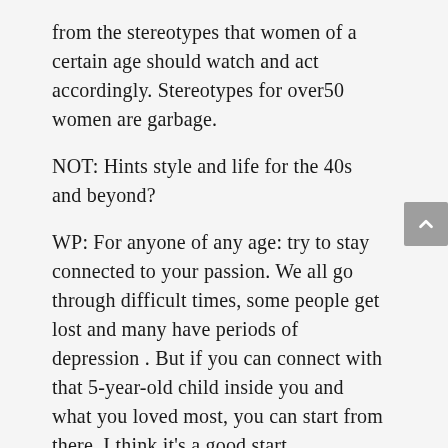from the stereotypes that women of a certain age should watch and act accordingly. Stereotypes for over50 women are garbage.
NOT: Hints style and life for the 40s and beyond?
WP: For anyone of any age: try to stay connected to your passion. We all go through difficult times, some people get lost and many have periods of depression . But if you can connect with that 5-year-old child inside you and what you loved most, you can start from there, I think it's a good start.